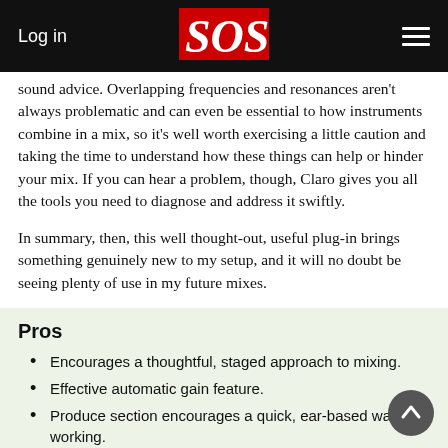Log in | SOS
sound advice. Overlapping frequencies and resonances aren't always problematic and can even be essential to how instruments combine in a mix, so it's well worth exercising a little caution and taking the time to understand how these things can help or hinder your mix. If you can hear a problem, though, Claro gives you all the tools you need to diagnose and address it swiftly.
In summary, then, this well thought-out, useful plug-in brings something genuinely new to my setup, and it will no doubt be seeing plenty of use in my future mixes.
Pros
Encourages a thoughtful, staged approach to mixing.
Effective automatic gain feature.
Produce section encourages a quick, ear-based way of working.
Tweak section is an excellent modern-style EQ.
Mix section offers genuinely helpful insights into masking issues.